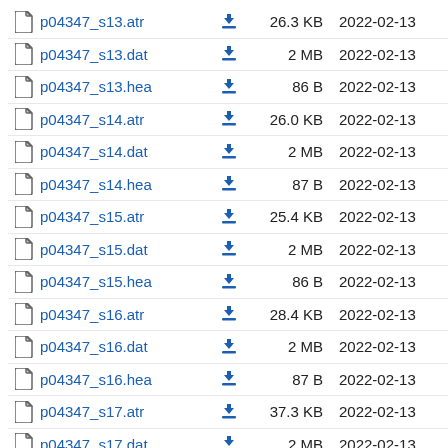p04347_s13.atr  26.3 KB  2022-02-13
p04347_s13.dat  2 MB  2022-02-13
p04347_s13.hea  86 B  2022-02-13
p04347_s14.atr  26.0 KB  2022-02-13
p04347_s14.dat  2 MB  2022-02-13
p04347_s14.hea  87 B  2022-02-13
p04347_s15.atr  25.4 KB  2022-02-13
p04347_s15.dat  2 MB  2022-02-13
p04347_s15.hea  86 B  2022-02-13
p04347_s16.atr  28.4 KB  2022-02-13
p04347_s16.dat  2 MB  2022-02-13
p04347_s16.hea  87 B  2022-02-13
p04347_s17.atr  37.3 KB  2022-02-13
p04347_s17.dat  2 MB  2022-02-13